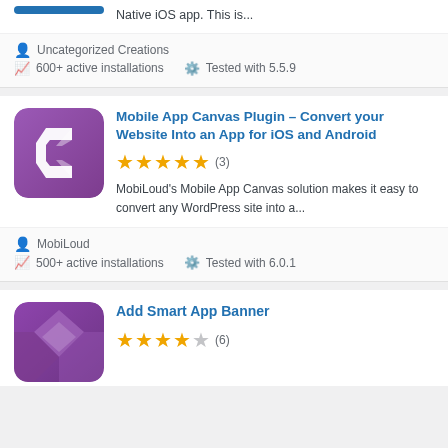Native iOS app. This is...
Uncategorized Creations
600+ active installations  Tested with 5.5.9
Mobile App Canvas Plugin – Convert your Website Into an App for iOS and Android
(3) 5 stars
MobiLoud's Mobile App Canvas solution makes it easy to convert any WordPress site into a...
MobiLoud
500+ active installations  Tested with 6.0.1
Add Smart App Banner
(6) 3.5 stars